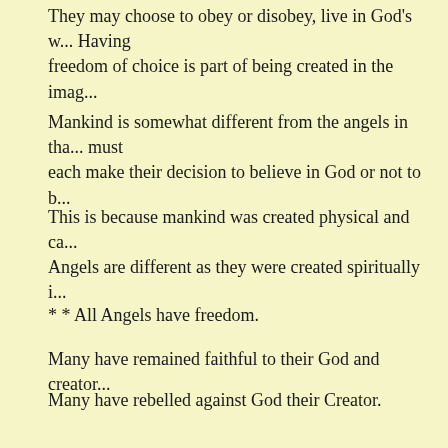They may choose to obey or disobey, live in God's w... Having freedom of choice is part of being created in the imag...
Mankind is somewhat different from the angels in tha... must each make their decision to believe in God or not to b...
This is because mankind was created physical and ca...
Angels are different as they were created spiritually i...
* * All Angels have freedom.
Many have remained faithful to their God and creator...
Many have rebelled against God their Creator.
* * All mankind have freedom.
Many have chosen to believe and remain faithful to th...
Many have chosen not to believe but to rebel against ...